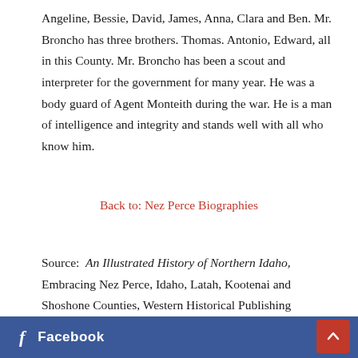Angeline, Bessie, David, James, Anna, Clara and Ben. Mr. Broncho has three brothers. Thomas. Antonio, Edward, all in this County. Mr. Broncho has been a scout and interpreter for the government for many year. He was a body guard of Agent Monteith during the war. He is a man of intelligence and integrity and stands well with all who know him.
Back to: Nez Perce Biographies
Source: An Illustrated History of Northern Idaho, Embracing Nez Perce, Idaho, Latah, Kootenai and Shoshone Counties, Western Historical Publishing Company, 1903
f Facebook